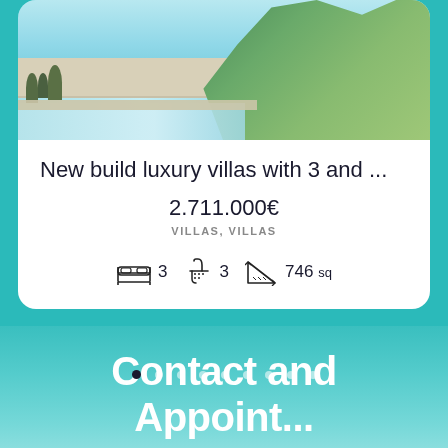[Figure (photo): Aerial/rendered view of luxury villa with swimming pool, stone terrace edges, lounge chairs, and lush green garden/landscaping]
New build luxury villas with 3 and ...
2.711.000€
VILLAS, VILLAS
3  3  746 sq
[Figure (infographic): Pagination dots — 9 dots in a row, first dot is dark/active, rest are light/faded]
Contact and
Appointment